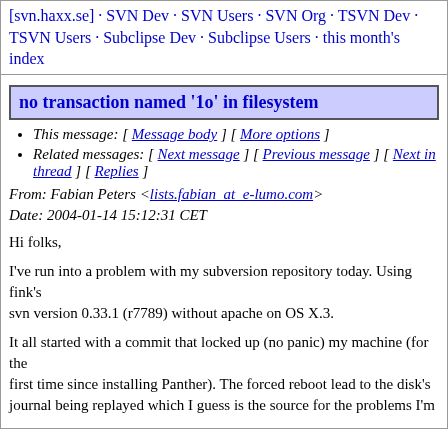[svn.haxx.se] · SVN Dev · SVN Users · SVN Org · TSVN Dev · TSVN Users · Subclipse Dev · Subclipse Users · this month's index
no transaction named '1o' in filesystem
This message: [ Message body ] [ More options ]
Related messages: [ Next message ] [ Previous message ] [ Next in thread ] [ Replies ]
From: Fabian Peters <lists.fabian_at_e-lumo.com>
Date: 2004-01-14 15:12:31 CET
Hi folks,
I've run into a problem with my subversion repository today. Using fink's
svn version 0.33.1 (r7789) without apache on OS X.3.
It all started with a commit that locked up (no panic) my machine (for the
first time since installing Panther). The forced reboot lead to the disk's
journal being replayed which I guess is the source for the problems I'm